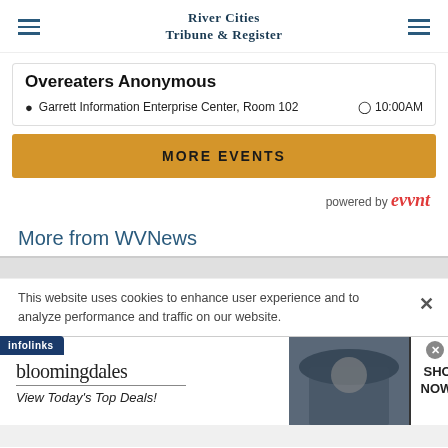River Cities Tribune & Register
Overeaters Anonymous
Garrett Information Enterprise Center, Room 102   10:00AM
MORE EVENTS
powered by evvnt
More from WVNews
This website uses cookies to enhance user experience and to analyze performance and traffic on our website.
[Figure (advertisement): Bloomingdales advertisement: logo, 'View Today's Top Deals!' tagline, woman with hat photo, 'SHOP NOW >' button]